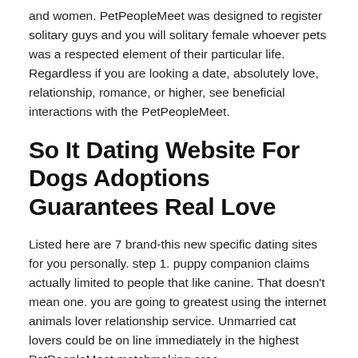and women. PetPeopleMeet was designed to register solitary guys and you will solitary female whoever pets was a respected element of their particular life. Regardless if you are looking a date, absolutely love, relationship, romance, or higher, see beneficial interactions with the PetPeopleMeet.
So It Dating Website For Dogs Adoptions Guarantees Real Love
Listed here are 7 brand-this new specific dating sites for you personally. step 1. puppy companion claims actually limited to people that like canine. That doesn't mean one. you are going to greatest using the internet animals lover relationship service. Unmarried cat lovers could be on line immediately in the highest PetPeopleMeet matchmaking area.